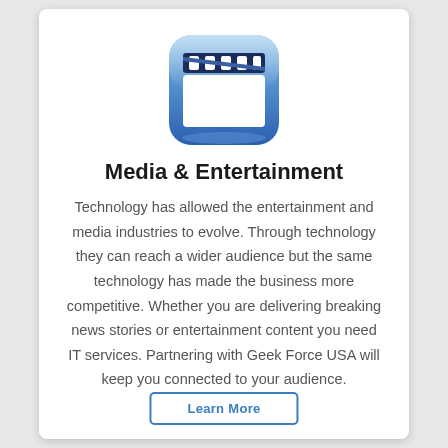[Figure (illustration): A blue rounded square app icon featuring a film clapperboard/slate in white against a blue gradient background.]
Media & Entertainment
Technology has allowed the entertainment and media industries to evolve. Through technology they can reach a wider audience but the same technology has made the business more competitive. Whether you are delivering breaking news stories or entertainment content you need IT services. Partnering with Geek Force USA will keep you connected to your audience.